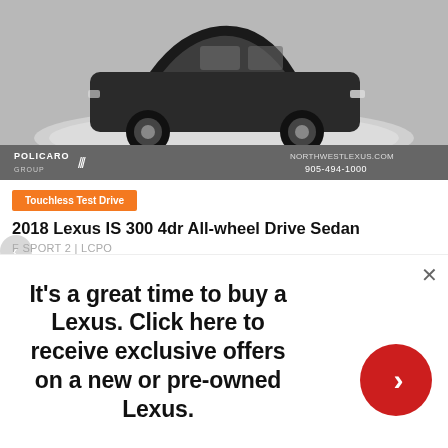[Figure (photo): Car dealership photo showing a black Lexus IS 300 sedan on a display platform, black and white image with dealer branding bar at bottom showing 'POLICARO GROUP' logo and 'NORTHWESTLEXUS.COM 905-494-1000']
Touchless Test Drive
2018 Lexus IS 300 4dr All-wheel Drive Sedan
F SPORT 2 | LCPO
Our Price: $39,500
Price does not include taxes and licensing fees
Finance from $310* (Bi-weekly)
$39,500 x 72 Months @ 6.99% APR (estimated financing rate, cost of borrowing $8,913). 0.00% down payment.
It's a great time to buy a Lexus. Click here to receive exclusive offers on a new or pre-owned Lexus.